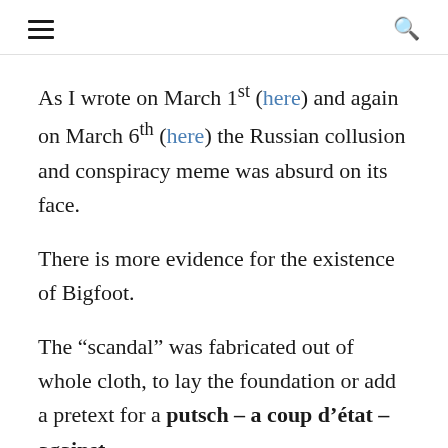≡  🔍
As I wrote on March 1st (here) and again on March 6th (here) the Russian collusion and conspiracy meme was absurd on its face.
There is more evidence for the existence of Bigfoot.
The “scandal” was fabricated out of whole cloth, to lay the foundation or add a pretext for a putsch – a coup d’état – against